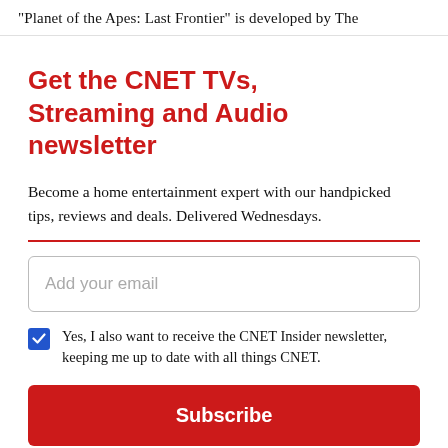"Planet of the Apes: Last Frontier" is developed by The
Get the CNET TVs, Streaming and Audio newsletter
Become a home entertainment expert with our handpicked tips, reviews and deals. Delivered Wednesdays.
Add your email
Yes, I also want to receive the CNET Insider newsletter, keeping me up to date with all things CNET.
Subscribe
By signing up, you agree to our Terms of Use and acknowledge the data practices in our Privacy Policy. You may unsubscribe at any time.